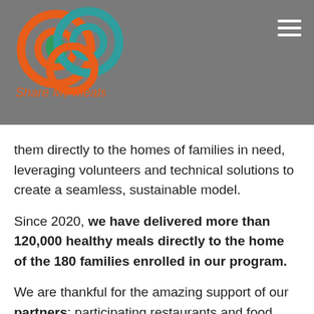[Figure (logo): Share My Meals logo with interlocking circular rings in orange and teal/green, with a leaf motif]
them directly to the homes of families in need, leveraging volunteers and technical solutions to create a seamless, sustainable model.
Since 2020, we have delivered more than 120,000 healthy meals directly to the home of the 180 families enrolled in our program.
We are thankful for the amazing support of our partners: participating restaurants and food donors, community partners, our team of over 40 motivated volunteers, and numerous generous donors who have made it all possible.
Sharing & Caring are part of Share My Meals' values and keys to success. We collaborate closely with our volunteers and